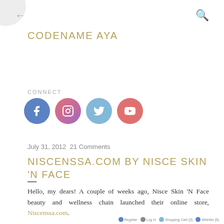CODENAME AYA
CONNECT
[Figure (illustration): Four social media icon circles: Facebook (blue), Instagram (gradient pink-purple), Twitter (light blue), YouTube (red-pink)]
July 31, 2012  21 Comments
NISCENSSA.COM BY NISCE SKIN 'N FACE
—
Hello, my dears! A couple of weeks ago, Nisce Skin 'N Face beauty and wellness chain launched their online store, Niscenssa.com.
Register  Log In  Shopping Cart (0)  Wishlist (0)